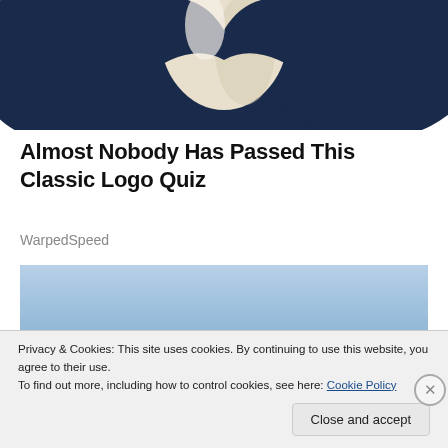[Figure (photo): Partial view of a person wearing a dark navy blue jacket with a cream/white cravat or lapel scarf, cropped at the shoulders and chest area]
Almost Nobody Has Passed This Classic Logo Quiz
WarpedSpeed
[Figure (photo): A blue sky scene, gradient from lighter to slightly darker blue, possibly outdoor background]
Privacy & Cookies: This site uses cookies. By continuing to use this website, you agree to their use.
To find out more, including how to control cookies, see here: Cookie Policy
Close and accept